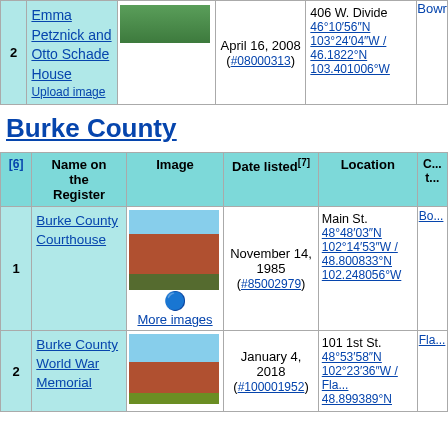| # | Name on the Register | Image | Date listed | Location | C... |
| --- | --- | --- | --- | --- | --- |
| 2 | Emma Petznick and Otto Schade House | [Upload image] | April 16, 2008 (#08000313) | 406 W. Divide 46°10′56″N 103°24′04″W / 46.1822°N 103.401006°W | Bowr... |
Burke County
| [6] | Name on the Register | Image | Date listed[7] | Location | C... t... |
| --- | --- | --- | --- | --- | --- |
| 1 | Burke County Courthouse | [More images] | November 14, 1985 (#85002979) | Main St. 48°48′03″N 102°14′53″W / 48.800833°N 102.248056°W | Bo... |
| 2 | Burke County World War Memorial | [image] | January 4, 2018 (#100001952) | 101 1st St. 48°53′58″N 102°23′36″W / Fla... 48.899389°N | Fla... |